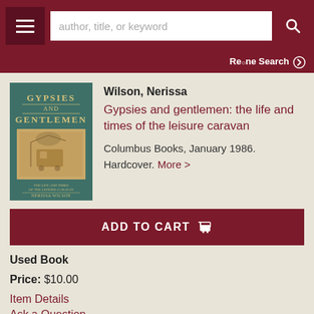author, title, or keyword
Refine Search
[Figure (photo): Book cover of 'Gypsies and Gentlemen' by Nerissa Wilson, teal/green background with sepia illustration of figures near a caravan]
Wilson, Nerissa
Gypsies and gentlemen: the life and times of the leisure caravan
Columbus Books, January 1986. Hardcover. More >
ADD TO CART
Used Book
Price: $10.00
Item Details
Ask a Question